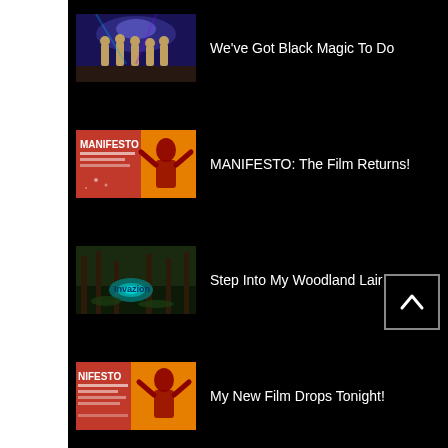We've Got Black Magic To Do
MANIFESTO: The Film Returns!
Step Into My Woodland Lair
My New Film Drops Tonight!